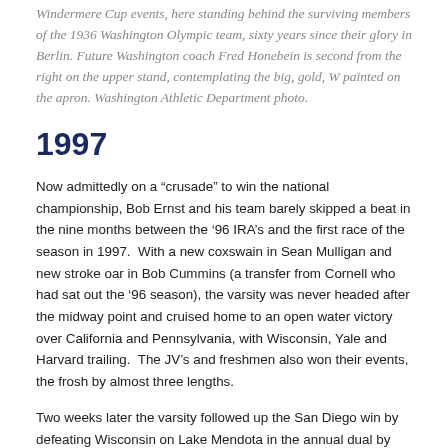Windermere Cup events, here standing behind the surviving members of the 1936 Washington Olympic team, sixty years since their glory in Berlin. Future Washington coach Fred Honebein is second from the right on the upper stand, contemplating the big, gold, W painted on the apron. Washington Athletic Department photo.
1997
Now admittedly on a “crusade” to win the national championship, Bob Ernst and his team barely skipped a beat in the nine months between the ‘96 IRA’s and the first race of the season in 1997.  With a new coxswain in Sean Mulligan and new stroke oar in Bob Cummins (a transfer from Cornell who had sat out the ‘96 season), the varsity was never headed after the midway point and cruised home to an open water victory over California and Pennsylvania, with Wisconsin, Yale and Harvard trailing.  The JV’s and freshmen also won their events, the frosh by almost three lengths.
Two weeks later the varsity followed up the San Diego win by defeating Wisconsin on Lake Mendota in the annual dual by about a length.